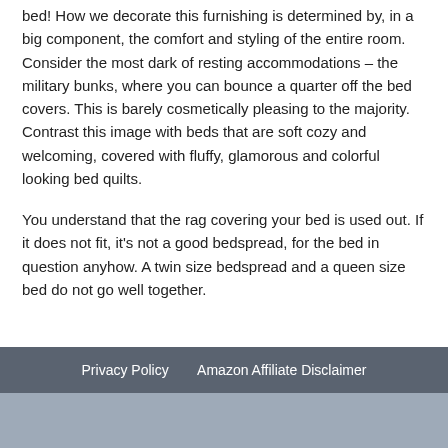bed! How we decorate this furnishing is determined by, in a big component, the comfort and styling of the entire room. Consider the most dark of resting accommodations – the military bunks, where you can bounce a quarter off the bed covers. This is barely cosmetically pleasing to the majority. Contrast this image with beds that are soft cozy and welcoming, covered with fluffy, glamorous and colorful looking bed quilts.
You understand that the rag covering your bed is used out. If it does not fit, it's not a good bedspread, for the bed in question anyhow. A twin size bedspread and a queen size bed do not go well together.
Privacy Policy   Amazon Affiliate Disclaimer